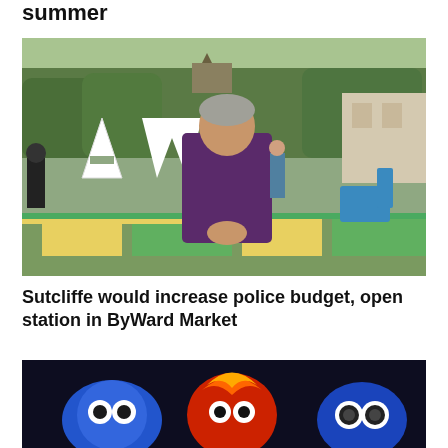summer
[Figure (photo): Man in purple shirt sitting at outdoor table in ByWard Market area with large A&W letters visible in background, colorful painted ground, blue Adirondack chair visible]
Sutcliffe would increase police budget, open station in ByWard Market
[Figure (photo): Colorful cartoon/mascot characters on dark background, including blue and red figures with large eyes]